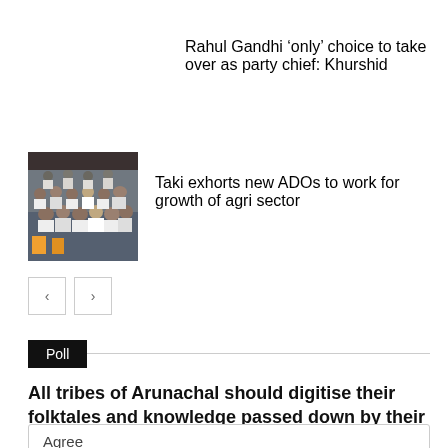Rahul Gandhi ‘only’ choice to take over as party chief: Khurshid
[Figure (photo): Group photo of people seated in rows, indoor setting]
Taki exhorts new ADOs to work for growth of agri sector
Poll
All tribes of Arunachal should digitise their folktales and knowledge passed down by their ancestors.
Agree